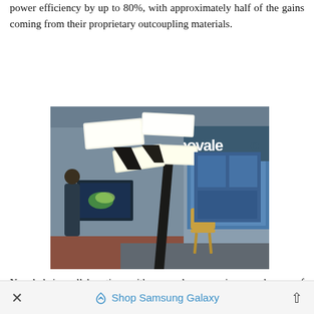power efficiency by up to 80%, with approximately half of the gains coming from their proprietary outcoupling materials.
[Figure (photo): An OLED lamp with multiple glowing white rectangular panels on articulated arms, displayed at what appears to be a trade show booth. The 'novaled' brand name is visible in white letters in the background. A monitor and exhibition displays are visible behind the lamp.]
Novaled is collaborating with several companies: producers of emission and other OLED materials (including UDC, Sumitomo, BASF, SFC, and Hodogaya) and producers of
Shop Samsung Galaxy